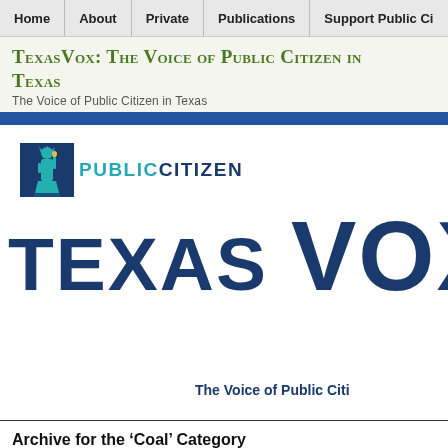Home | About | Private | Publications | Support Public Ci
TexasVox: The Voice of Public Citizen in Texas
The Voice of Public Citizen in Texas
[Figure (logo): Public Citizen logo with Statue of Liberty icon and 'PUBLIC CITIZEN' text in teal and dark blue, above large 'TEXAS VOX' text in dark navy, with tagline 'The Voice of Public Citi']
Archive for the 'Coal' Category
Celebrate the closing of CPS' 'dirty' Deely plant
Posted in Climate Change, Coal, Global Warming, tagged Texas on December 11, 201